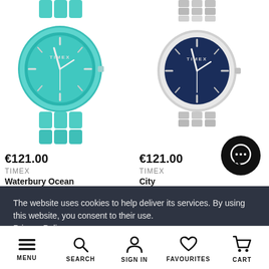[Figure (photo): Teal/turquoise Timex Waterbury Ocean watch with matching teal bracelet]
€121.00
TIMEX
Waterbury Ocean
[Figure (photo): Silver/navy Timex City watch with silver metal bracelet and dark blue dial]
€121.00
TIMEX
City
The website uses cookies to help deliver its services. By using this website, you consent to their use.
Privacy Policy »
I AGREE
MENU  SEARCH  SIGN IN  FAVOURITES  CART